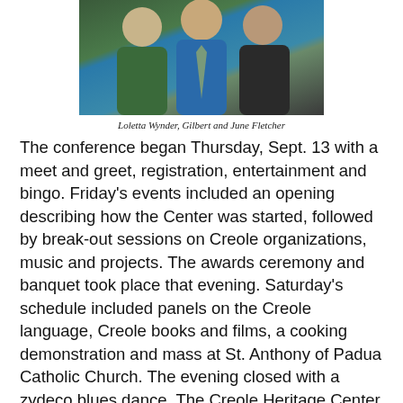[Figure (photo): Three people posing together: a woman in a green patterned top on the left, a man in a blue shirt and patterned tie in the center, and a woman in a dark top on the right.]
Loletta Wynder, Gilbert and June Fletcher
The conference began Thursday, Sept. 13 with a meet and greet, registration, entertainment and bingo. Friday's events included an opening describing how the Center was started, followed by break-out sessions on Creole organizations, music and projects. The awards ceremony and banquet took place that evening. Saturday's schedule included panels on the Creole language, Creole books and films, a cooking demonstration and mass at St. Anthony of Padua Catholic Church. The evening closed with a zydeco blues dance. The Creole Heritage Center was part of a five-year plan initiated by the St. Augustine Historical Society, a group in the Natchitoches and Cane River